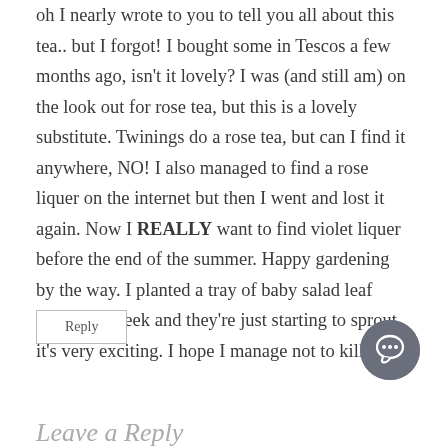oh I nearly wrote to you to tell you all about this tea.. but I forgot! I bought some in Tescos a few months ago, isn't it lovely? I was (and still am) on the look out for rose tea, but this is a lovely substitute. Twinings do a rose tea, but can I find it anywhere, NO! I also managed to find a rose liquer on the internet but then I went and lost it again. Now I REALLY want to find violet liquer before the end of the summer. Happy gardening by the way. I planted a tray of baby salad leaf seeds last week and they're just starting to sprout, it's very exciting. I hope I manage not to kill them!
Reply
[Figure (illustration): A circular grey chat/comment icon button in the bottom right corner]
Leave a Reply